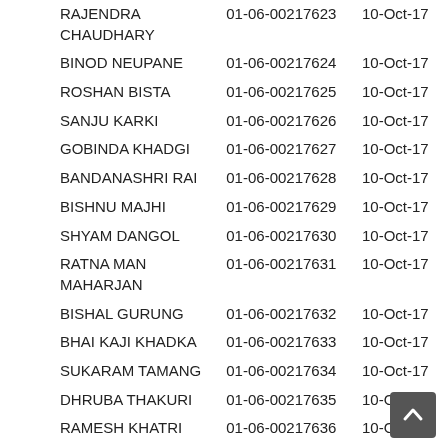| Name | ID | Date |
| --- | --- | --- |
| RAJENDRA CHAUDHARY | 01-06-00217623 | 10-Oct-17 |
| BINOD NEUPANE | 01-06-00217624 | 10-Oct-17 |
| ROSHAN BISTA | 01-06-00217625 | 10-Oct-17 |
| SANJU KARKI | 01-06-00217626 | 10-Oct-17 |
| GOBINDA KHADGI | 01-06-00217627 | 10-Oct-17 |
| BANDANASHRI RAI | 01-06-00217628 | 10-Oct-17 |
| BISHNU MAJHI | 01-06-00217629 | 10-Oct-17 |
| SHYAM DANGOL | 01-06-00217630 | 10-Oct-17 |
| RATNA MAN MAHARJAN | 01-06-00217631 | 10-Oct-17 |
| BISHAL GURUNG | 01-06-00217632 | 10-Oct-17 |
| BHAI KAJI KHADKA | 01-06-00217633 | 10-Oct-17 |
| SUKARAM TAMANG | 01-06-00217634 | 10-Oct-17 |
| DHRUBA THAKURI | 01-06-00217635 | 10-Oct-17 |
| RAMESH KHATRI | 01-06-00217636 | 10-Oct-17 |
| RAJESH KUMAR | 01-06-00217637 | 10-Oct-17 |
| SAROJ NEPALI | 01-06-00217638 | 10-Oct-17 |
| NARAYAN PRASAD SHRESTHA | 01-06-00217640 | 10-Oct-17 |
| RAJENDRA SHRESTHA | 01-06-00217641 | 10-Oct-17 |